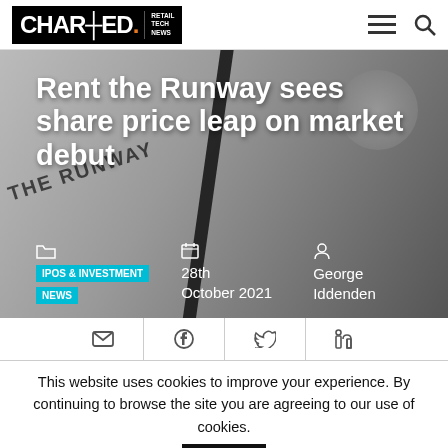CHARGED. RETAIL TECH NEWS
[Figure (photo): Hero image with 'THE RUNWAY' tag text overlay and a dark diagonal stripe. White text headline: 'Rent the Runway sees share price leap on market debut'. Metadata: IPOS & INVESTMENT NEWS, 28th October 2021, George Iddenden.]
Rent the Runway sees share price leap on market debut
IPOS & INVESTMENT NEWS
28th October 2021
George Iddenden
This website uses cookies to improve your experience. By continuing to browse the site you are agreeing to our use of cookies. Accept To find out more please read our privacy policy Read More